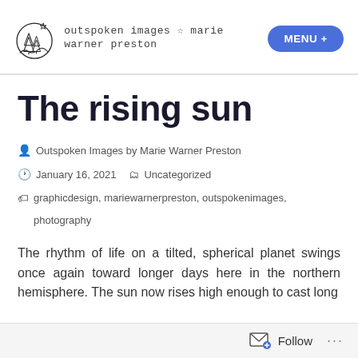outspoken images ☆ marie warner preston | MENU +
The rising sun
Outspoken Images by Marie Warner Preston
January 16, 2021   Uncategorized
graphicdesign, mariewarnerpreston, outspokenimages, photography
The rhythm of life on a tilted, spherical planet swings once again toward longer days here in the northern hemisphere. The sun now rises high enough to cast long
Follow ...